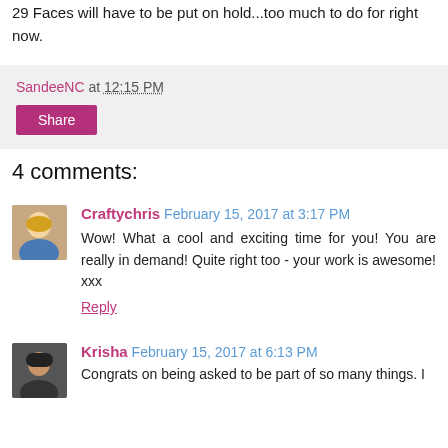29 Faces will have to be put on hold...too much to do for right now.
SandeeNC at 12:15 PM
Share
4 comments:
Craftychris February 15, 2017 at 3:17 PM
Wow! What a cool and exciting time for you! You are really in demand! Quite right too - your work is awesome! xxx
Reply
Krisha February 15, 2017 at 6:13 PM
Congrats on being asked to be part of so many things. I